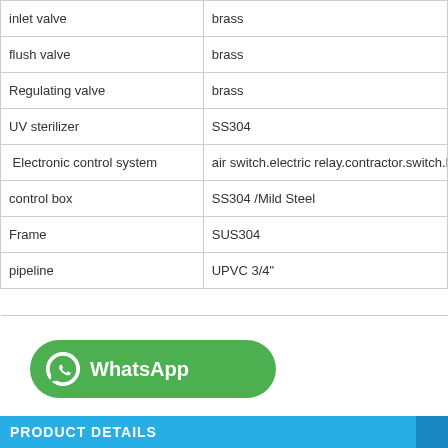| inlet valve | brass |
| flush valve | brass |
| Regulating valve | brass |
| UV sterilizer | SS304 |
| Electronic control system | air switch.electric relay.contractor.switch.LI |
| control box | SS304 /Mild Steel |
| Frame | SUS304 |
| pipeline | UPVC 3/4" |
[Figure (logo): WhatsApp button with green rounded background and WhatsApp icon]
PRODUCT DETAILS